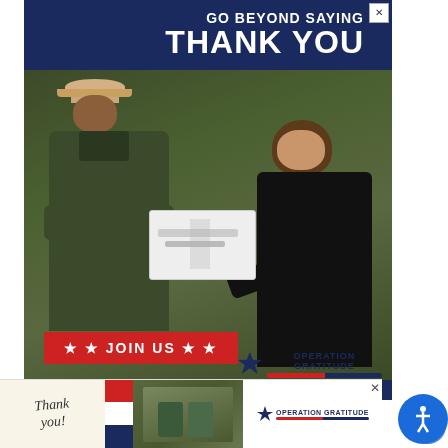[Figure (photo): Advertisement banner for Operation Gratitude. Dark navy blue background with photo of a Navy servicemember in camouflage uniform receiving/exchanging a white care package box with a civilian woman. Text at top reads 'GO BEYOND SAYING THANK YOU'. Red button at bottom left reads '★ ★ JOIN US ★ ★'. Operation Gratitude logo at bottom right with star and American flag stripe colors. Small X close button at top right.]
[Figure (photo): Small circular heart (like/favorite) button in blue circle on right side of page]
[Figure (photo): Small circular share button in blue circle on right side of page]
WHAT'S NEXT → Keurig vs Ninja Coffee...
In addition to the easy brewing benefits
[Figure (photo): Bottom advertisement banner for Operation Gratitude with 'Thank you!' handwritten text, American flag/stars imagery, photo of military personnel, and Operation Gratitude logo. Has close X button.]